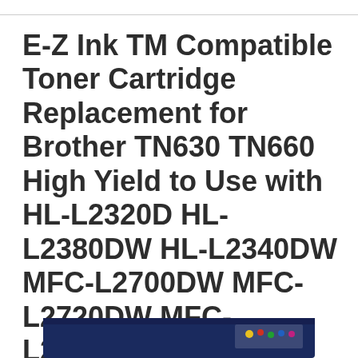E-Z Ink TM Compatible Toner Cartridge Replacement for Brother TN630 TN660 High Yield to Use with HL-L2320D HL-L2380DW HL-L2340DW MFC-L2700DW MFC-L2720DW MFC-L2740DW Printer Black, 3 Pack
[Figure (photo): Partial view of a product box (toner cartridge packaging) visible at the bottom of the page, showing a dark blue/black box with colorful label details]